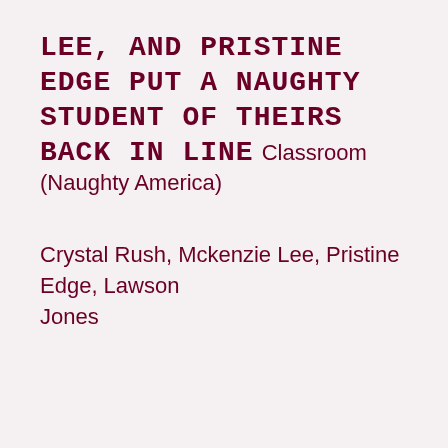LEE, AND PRISTINE EDGE PUT A NAUGHTY STUDENT OF THEIRS BACK IN LINE Classroom (Naughty America)
Crystal Rush, Mckenzie Lee, Pristine Edge, Lawson Jones